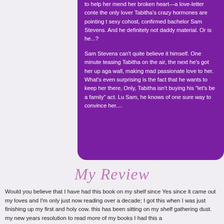to help her mend her broken heart—a love-letter conte the only lover Tabitha's crazy hormones are pointing t sexy cohost, confirmed bachelor Sam Stevens. And he definitely not daddy material. Or is he...?
Sam Stevens can't quite believe it himself. One minute teasing Tabitha on the air, the next he's got her up aga wall, making mad passionate love to her. What's even surprising is the fact that he wants to keep her there, Only, Tabitha isn't buying his "let's be a family" act. Lu Sam, he knows of one sure way to convince her....
My Review
Would you believe that I have had this book on my shelf since Yes since it came out my loves and I'm only just now reading over a decade; I got this when I was just finishing up my first and holy cow. this has been sitting on my shelf gathering dust. my new years resolution to read more of my books I had this a